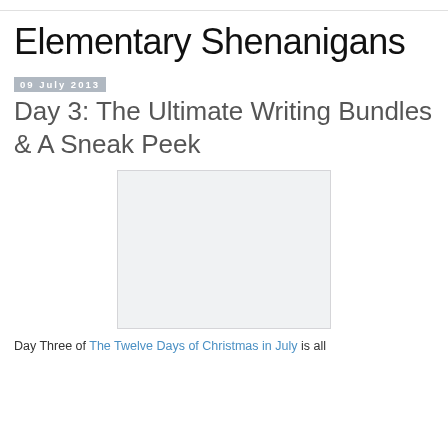Elementary Shenanigans
09 July 2013
Day 3: The Ultimate Writing Bundles & A Sneak Peek
[Figure (photo): Placeholder image rectangle with light gray background]
Day Three of The Twelve Days of Christmas in July is all